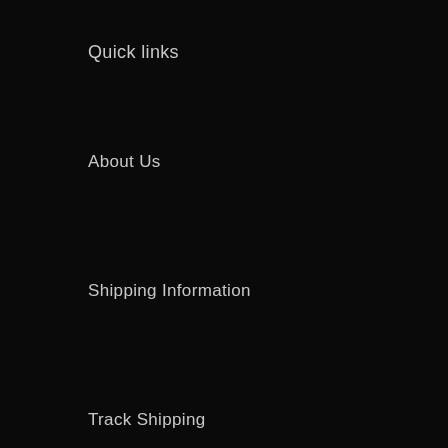Quick links
About Us
Shipping Information
Track Shipping
Refund Policy
Privacy Policy
Terms of Service
Contact Us